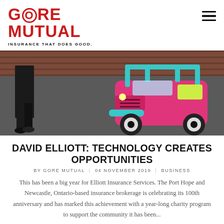[Figure (logo): Gore Mutual logo — red bold text reading GORE MUTUAL with tagline INSURANCE THAT DOES GOOD.]
[Figure (photo): Person standing in dark clothing next to a pink and teal toy Jeep on a paved surface with brick wall in background]
DAVID ELLIOTT: TECHNOLOGY CREATES OPPORTUNITIES
BY GORE MUTUAL  |  04 NOVEMBER 2019  |  BUSINESS
This has been a big year for Elliott Insurance Services. The Port Hope and Newcastle, Ontario-based insurance brokerage is celebrating its 100th anniversary and has marked this achievement with a year-long charity program to support the community it has been...